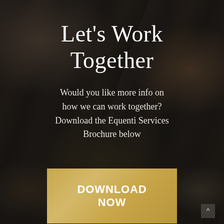[Figure (photo): Dark moody background photo of people working around a table with coffee cups and papers, heavily darkened/overlaid]
Let's Work Together
Would you like more info on how we can work together? Download the Equenti Services Brochure below
DOWNLOAD NOW